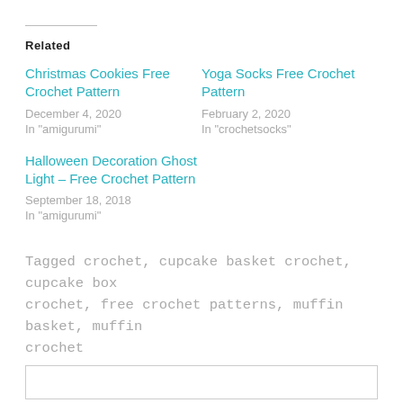Related
Christmas Cookies Free Crochet Pattern
December 4, 2020
In "amigurumi"
Yoga Socks Free Crochet Pattern
February 2, 2020
In "crochetsocks"
Halloween Decoration Ghost Light – Free Crochet Pattern
September 18, 2018
In "amigurumi"
Tagged crochet, cupcake basket crochet, cupcake box crochet, free crochet patterns, muffin basket, muffin crochet